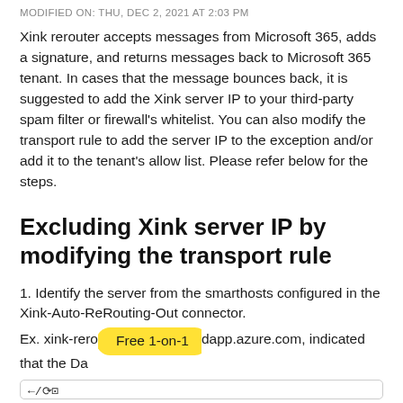MODIFIED ON: THU, DEC 2, 2021 AT 2:03 PM
Xink rerouter accepts messages from Microsoft 365, adds a signature, and returns messages back to Microsoft 365 tenant. In cases that the message bounces back, it is suggested to add the Xink server IP to your third-party spam filter or firewall's whitelist. You can also modify the transport rule to add the server IP to the exception and/or add it to the tenant's allow list. Please refer below for the steps.
Excluding Xink server IP by modifying the transport rule
1. Identify the server from the smarthosts configured in the Xink-Auto-ReRouting-Out connector.
Ex. xink-rero...dapp.azure.com, indicated that the Da... [Free 1-on-1 overlay]